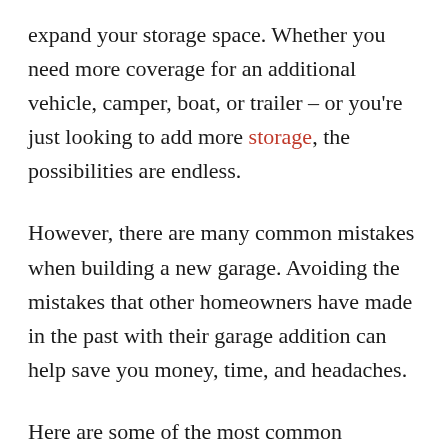expand your storage space. Whether you need more coverage for an additional vehicle, camper, boat, or trailer – or you're just looking to add more storage, the possibilities are endless.
However, there are many common mistakes when building a new garage. Avoiding the mistakes that other homeowners have made in the past with their garage addition can help save you money, time, and headaches.
Here are some of the most common mistakes when building a new garage: